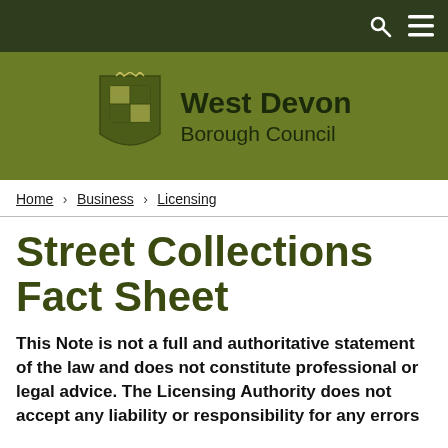West Devon Borough Council
Home > Business > Licensing
Street Collections Fact Sheet
This Note is not a full and authoritative statement of the law and does not constitute professional or legal advice. The Licensing Authority does not accept any liability or responsibility for any errors